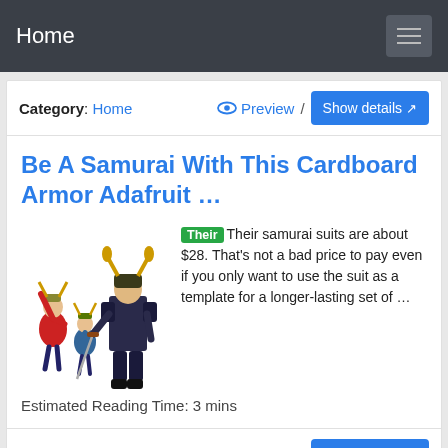Home
Category: Home   Preview / Show details
Be A Samurai With This Cardboard Armor Adafruit …
[Figure (illustration): Group of people dressed in samurai armor costumes including adults and children]
Their Their samurai suits are about $28. That's not a bad price to pay even if you only want to use the suit as a template for a longer-lasting set of …
Estimated Reading Time: 3 mins
Category: It   Preview / Show details